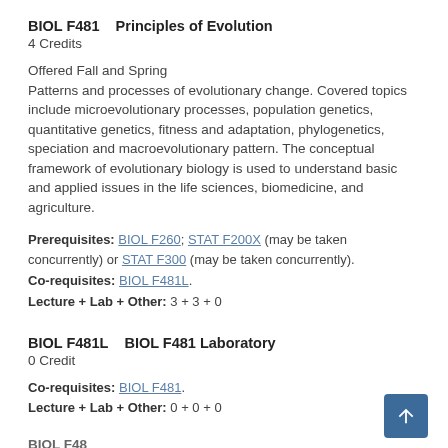BIOL F481    Principles of Evolution
4 Credits
Offered Fall and Spring
Patterns and processes of evolutionary change. Covered topics include microevolutionary processes, population genetics, quantitative genetics, fitness and adaptation, phylogenetics, speciation and macroevolutionary pattern. The conceptual framework of evolutionary biology is used to understand basic and applied issues in the life sciences, biomedicine, and agriculture.
Prerequisites: BIOL F260; STAT F200X (may be taken concurrently) or STAT F300 (may be taken concurrently).
Co-requisites: BIOL F481L.
Lecture + Lab + Other: 3 + 3 + 0
BIOL F481L    BIOL F481 Laboratory
0 Credit
Co-requisites: BIOL F481.
Lecture + Lab + Other: 0 + 0 + 0
BIOL F48...   (cut off)